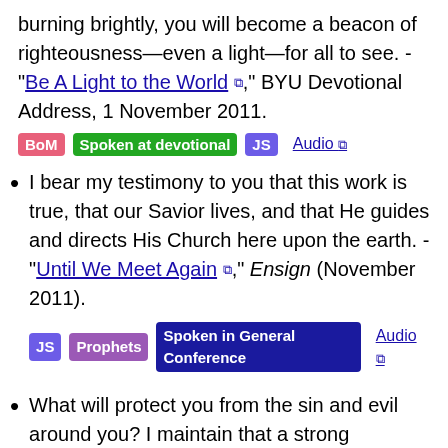burning brightly, you will become a beacon of righteousness—even a light—for all to see. - "Be A Light to the World," BYU Devotional Address, 1 November 2011.
BoM  Spoken at devotional  JS  Audio
I bear my testimony to you that this work is true, that our Savior lives, and that He guides and directs His Church here upon the earth. - "Until We Meet Again," Ensign (November 2011).
JS  Prophets  Spoken in General Conference  Audio
What will protect you from the sin and evil around you? I maintain that a strong testimony of our Savior and of His gospel will